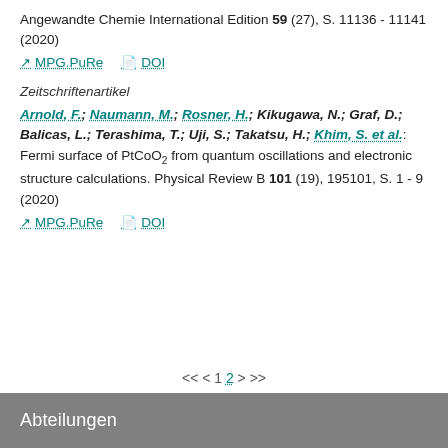Angewandte Chemie International Edition 59 (27), S. 11136 - 11141 (2020)
MPG.PuRe   DOI
Zeitschriftenartikel
Arnold, F.; Naumann, M.; Rosner, H.; Kikugawa, N.; Graf, D.; Balicas, L.; Terashima, T.; Uji, S.; Takatsu, H.; Khim, S. et al.: Fermi surface of PtCoO2 from quantum oscillations and electronic structure calculations. Physical Review B 101 (19), 195101, S. 1 - 9 (2020)
MPG.PuRe   DOI
<< < 1 2 > >>
Abteilungen